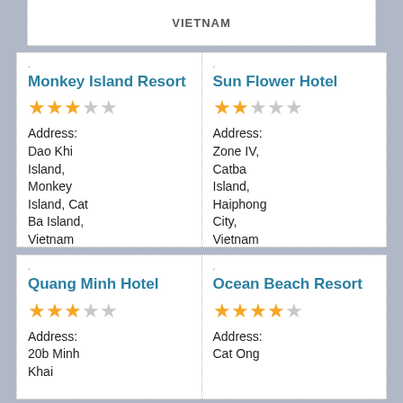Monkey Island Resort — 3 stars — Address: Dao Khi Island, Monkey Island, Cat Ba Island, Vietnam
Sun Flower Hotel — 2 stars — Address: Zone IV, Catba Island, Haiphong City, Vietnam
Quang Minh Hotel — 3 stars — Address: 20b Minh Khai
Ocean Beach Resort — 3.5 stars — Address: Cat Ong